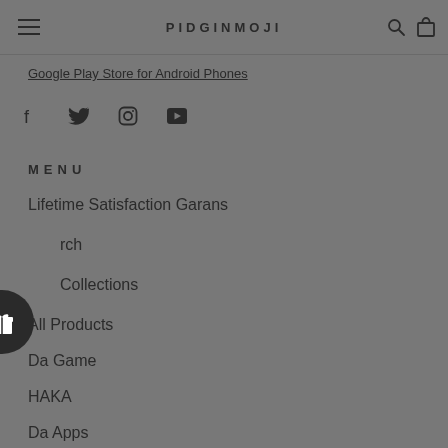PIDGINMOJI
Google Play Store for Android Phones
[Figure (other): Social media icons: Facebook, Twitter, Instagram, YouTube]
MENU
Lifetime Satisfaction Garans
Search
Collections
All Products
Da Game
HAKA
Da Apps
Pidgin Dictionary